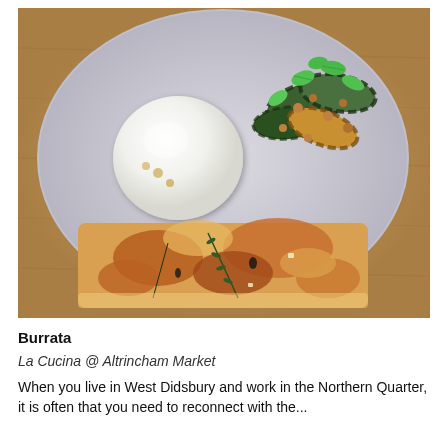[Figure (photo): A ceramic plate photographed from above containing a slice of golden-brown focaccia bread, a ball of burrata cheese drizzled with oil, and a salad of grilled courgette slices with hazelnuts and fresh mint leaves.]
Burrata
La Cucina @ Altrincham Market
When you live in West Didsbury and work in the Northern Quarter, it is often that you need to reconnect with the...